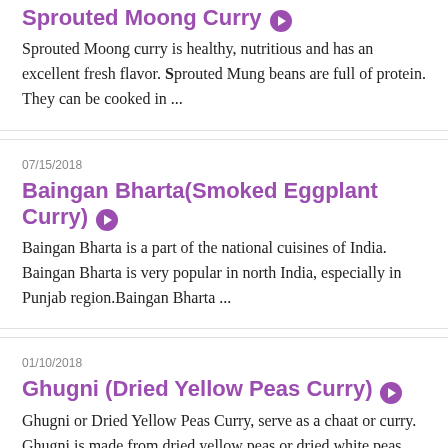Sprouted Moong Curry
Sprouted Moong curry is healthy, nutritious and has an excellent fresh flavor. Sprouted Mung beans are full of protein. They can be cooked in ...
07/15/2018
Baingan Bharta(Smoked Eggplant Curry)
Baingan Bharta is a part of the national cuisines of India. Baingan Bharta is very popular in north India, especially in Punjab region.Baingan Bharta ...
01/10/2018
Ghugni (Dried Yellow Peas Curry)
Ghugni or Dried Yellow Peas Curry, serve as a chaat or curry. Ghugni is made from dried yellow peas or dried white peas. Ghugni ...